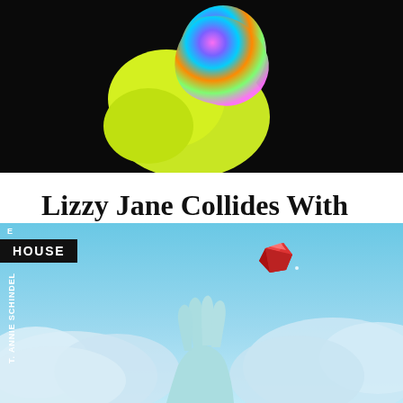[Figure (photo): Abstract artwork on black background showing a neon yellow-green shape and a colorful iridescent sculptural form at top]
Lizzy Jane Collides With PURGE On New Boundary Pushing Effort “Home”
BY FMARIS525 POSTED ON MAY 14, 2021
[Figure (photo): Album artwork showing an illustrated hand reaching upward toward a red gemstone against a light blue sky with clouds. Text reads HOUSE and T. ANNIE SCHINDEL on the left side.]